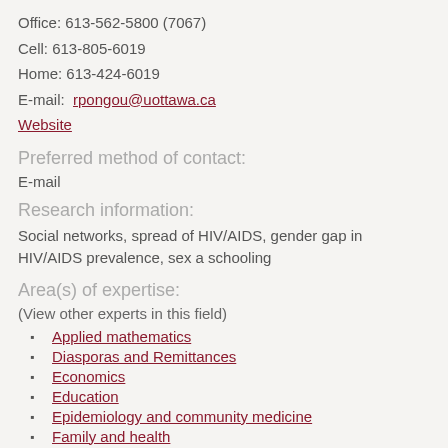Office: 613-562-5800 (7067)
Cell: 613-805-6019
Home: 613-424-6019
E-mail: rpongou@uottawa.ca
Website
Preferred method of contact:
E-mail
Research information:
Social networks, spread of HIV/AIDS, gender gap in HIV/AIDS prevalence, sex a schooling
Area(s) of expertise:
(View other experts in this field)
Applied mathematics
Diasporas and Remittances
Economics
Education
Epidemiology and community medicine
Family and health